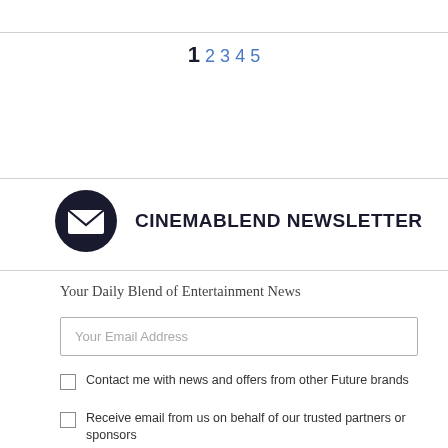1 2 3 4 5
CINEMABLEND NEWSLETTER
Your Daily Blend of Entertainment News
Your Email Address
Contact me with news and offers from other Future brands
Receive email from us on behalf of our trusted partners or sponsors
SIGN ME UP